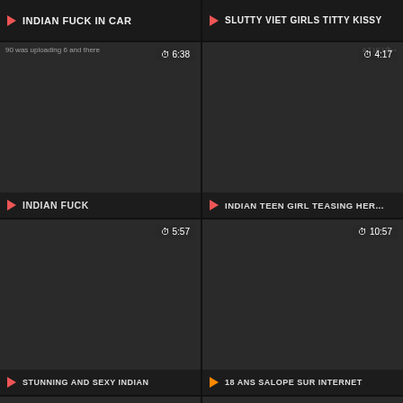[Figure (screenshot): Video thumbnail grid page showing adult video thumbnails with titles and durations]
INDIAN FUCK IN CAR
SLUTTY VIET GIRLS TITTY KISSY
INDIAN FUCK
INDIAN TEEN GIRL TEASING HER...
STUNNING AND SEXY INDIAN
18 ANS SALOPE SUR INTERNET